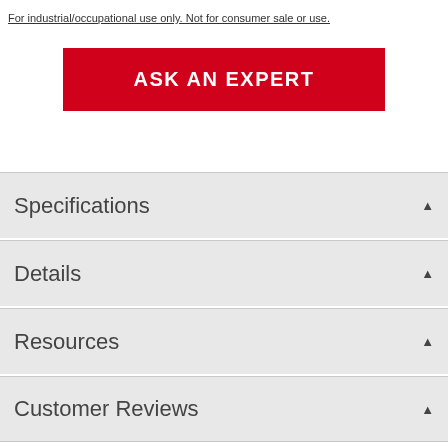For industrial/occupational use only. Not for consumer sale or use.
ASK AN EXPERT
Specifications
Details
Resources
Customer Reviews
For industrial/occupational use only. Not for consumer sale or use.
3M industrial/occupational products are intended...